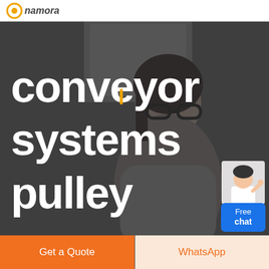namora
[Figure (photo): Dark background photo of a woman with glasses, used as hero image behind text]
conveyor systems pulley
[Figure (illustration): Free chat widget with customer service representative avatar and blue button labeled 'Free chat']
Get a Quote
WhatsApp